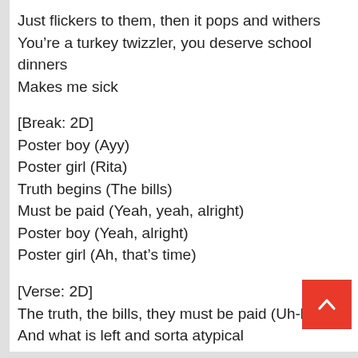Just flickers to them, then it pops and withers
You’re a turkey twizzler, you deserve school dinners
Makes me sick
[Break: 2D]
Poster boy (Ayy)
Poster girl (Rita)
Truth begins (The bills)
Must be paid (Yeah, yeah, alright)
Poster boy (Yeah, alright)
Poster girl (Ah, that’s time)
[Verse: 2D]
The truth, the bills, they must be paid (Uh-huh)
And what is left and sorta atypical
All you need to change your face
You’re gettin’ sold, it’s such a waste
You’re g...